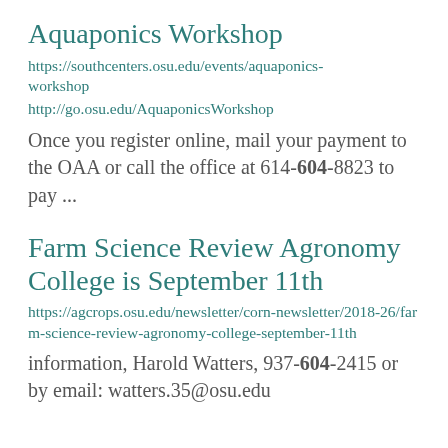Aquaponics Workshop
https://southcenters.osu.edu/events/aquaponics-workshop
http://go.osu.edu/AquaponicsWorkshop
Once you register online, mail your payment to the OAA or call the office at 614-604-8823 to pay ...
Farm Science Review Agronomy College is September 11th
https://agcrops.osu.edu/newsletter/corn-newsletter/2018-26/farm-science-review-agronomy-college-september-11th
information, Harold Watters, 937-604-2415 or by email: watters.35@osu.edu